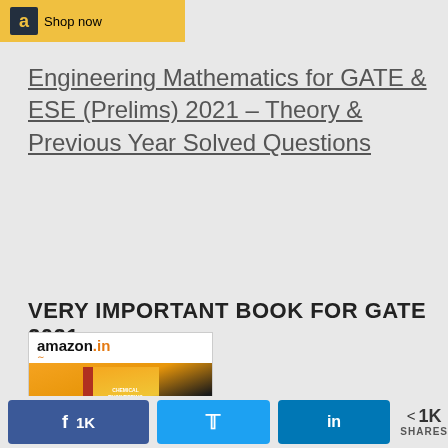[Figure (logo): Amazon shopping button with yellow background showing 'a' logo and 'Shop now' text]
Engineering Mathematics for GATE & ESE (Prelims) 2021 – Theory & Previous Year Solved Questions
VERY IMPORTANT BOOK FOR GATE 2021
[Figure (screenshot): Amazon.in product card showing a book cover for Chemical Engineering GATE 2022]
1K  (twitter share button)  in  < 1K SHARES